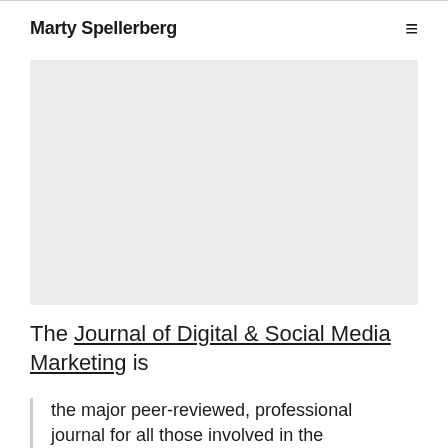Marty Spellerberg
[Figure (other): Light gray rectangular placeholder image area]
The Journal of Digital & Social Media Marketing is
the major peer-reviewed, professional journal for all those involved in the